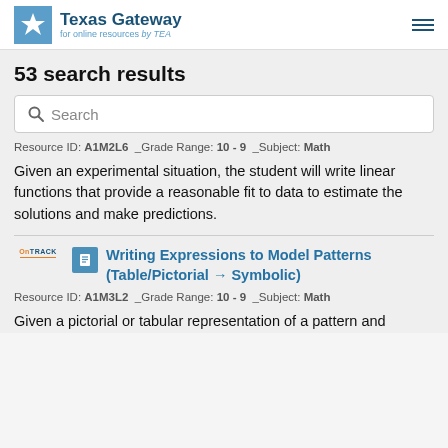Texas Gateway for online resources by TEA
53 search results
Search
Resource ID: A1M2L6  Grade Range: 10 - 9  Subject: Math
Given an experimental situation, the student will write linear functions that provide a reasonable fit to data to estimate the solutions and make predictions.
Writing Expressions to Model Patterns (Table/Pictorial → Symbolic)
Resource ID: A1M3L2  Grade Range: 10 - 9  Subject: Math
Given a pictorial or tabular representation of a pattern and